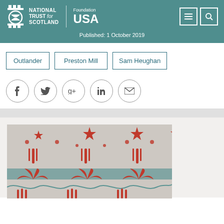National Trust for Scotland Foundation USA
Published: 1 October 2019
Outlander
Preston Mill
Sam Heughan
[Figure (illustration): Social media share icons: Facebook, Twitter, Google+, LinkedIn, Email — each in a circle outline]
[Figure (illustration): Decorative pattern with red stars, stylized red and teal botanical/floral motifs on a light gray background]